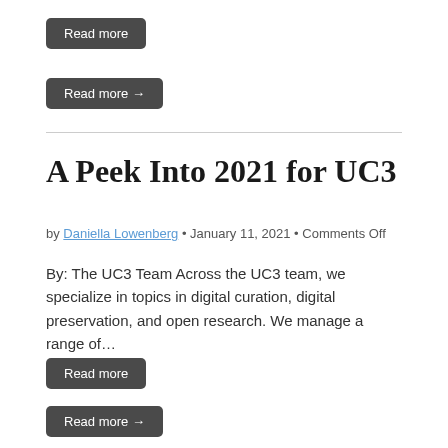Read more
Read more →
A Peek Into 2021 for UC3
by Daniella Lowenberg • January 11, 2021 • Comments Off
By: The UC3 Team Across the UC3 team, we specialize in topics in digital curation, digital preservation, and open research. We manage a range of…
Read more
Read more →